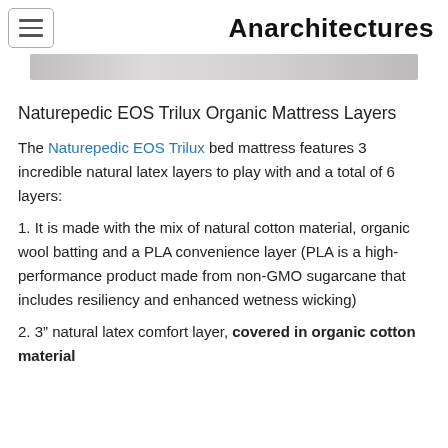Anarchitectures
[Figure (photo): Partial banner/hero image of Naturepedic EOS Trilux mattress, cropped at top]
Naturepedic EOS Trilux Organic Mattress Layers
The Naturepedic EOS Trilux bed mattress features 3 incredible natural latex layers to play with and a total of 6 layers:
1. It is made with the mix of natural cotton material, organic wool batting and a PLA convenience layer (PLA is a high-performance product made from non-GMO sugarcane that includes resiliency and enhanced wetness wicking)
2. 3” natural latex comfort layer, covered in organic cotton material